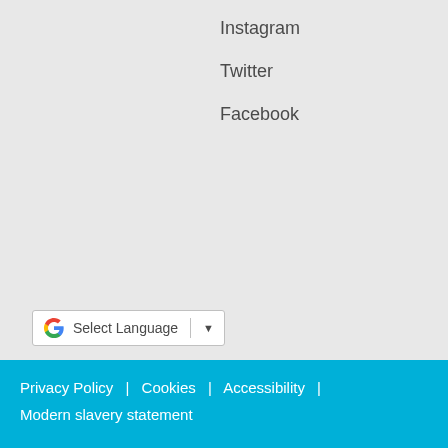Instagram
Twitter
Facebook
[Figure (other): Google Translate language selector widget with G logo, Select Language text, and dropdown arrow]
[Figure (logo): Co-operating for a fairer world logo — circular teal outline with bold teal text inside]
Privacy Policy  |  Cookies  |  Accessibility  |  Modern slavery statement